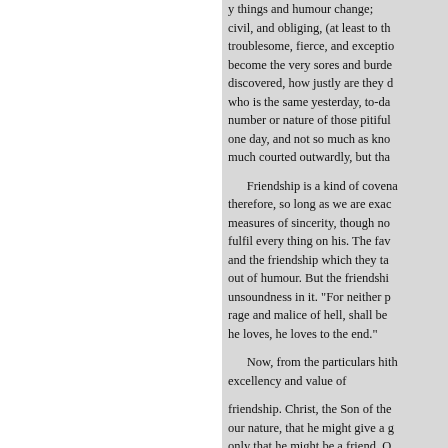y things and humour change; civil, and obliging, (at least to th troublesome, fierce, and exceptio become the very sores and burde discovered, how justly are they d who is the same yesterday, to-da number or nature of those pitiful one day, and not so much as kno much courted outwardly, but tha

Friendship is a kind of covena therefore, so long as we are exac measures of sincerity, though no fulfil every thing on his. The fav and the friendship which they ta out of humour. But the friendshi unsoundness in it. "For neither p rage and malice of hell, shall be he loves, he loves to the end."

Now, from the particulars hith excellency and value of

friendship. Christ, the Son of the our nature, that he might give a g only that he might be a friend. O